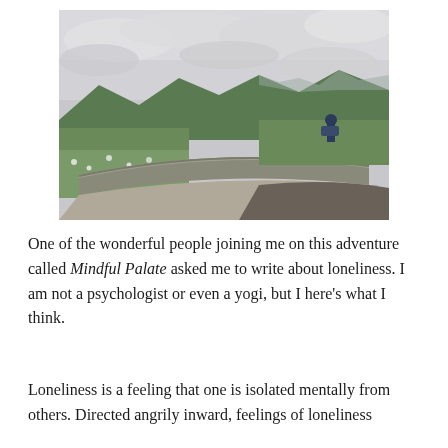[Figure (photo): A lone person standing on a curved stone overlook wall with scenic mountain and cloudy sky views in the background. The landscape features green hills and misty mountains.]
One of the wonderful people joining me on this adventure called Mindful Palate asked me to write about loneliness. I am not a psychologist or even a yogi, but I here's what I think.
Loneliness is a feeling that one is isolated mentally from others. Directed angrily inward, feelings of loneliness